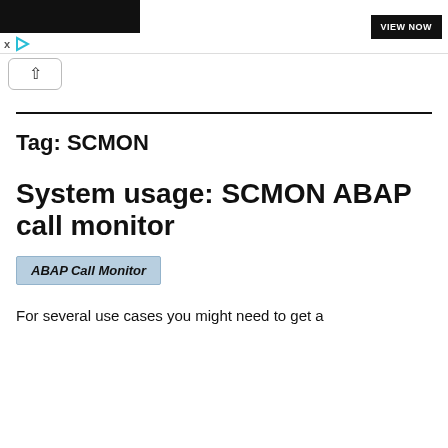VIEW NOW
Tag: SCMON
System usage: SCMON ABAP call monitor
ABAP Call Monitor
For several use cases you might need to get a